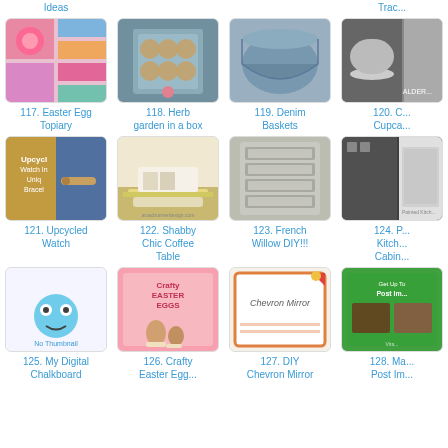[Figure (photo): Colorful Easter egg topiary craft project]
117. Easter Egg Topiary
[Figure (photo): Herb garden in a wooden box with glass top]
118. Herb garden in a box
[Figure (photo): Denim fabric basket]
119. Denim Baskets
[Figure (photo): Cupcake stand on plate (partially visible)]
120. C... Cupca...
[Figure (photo): Upcycled watch turned into unique bracelet]
121. Upcycled Watch
[Figure (photo): Shabby chic white coffee table with yellow room]
122. Shabby Chic Coffee Table
[Figure (photo): French willow wicker drawer unit DIY]
123. French Willow DIY!!!
[Figure (photo): Painted kitchen cabinets (partially visible)]
124. P... Kitch... Cabin...
[Figure (photo): My Digital Chalkboard blog logo with frog]
125. My Digital Chalkboard
[Figure (photo): Crafty Easter Eggs - chocolate cupcake styled eggs]
126. Crafty Easter Egg...
[Figure (photo): DIY Chevron Mirror tutorial card]
127. DIY Chevron Mirror
[Figure (photo): Post It viral marketing book (green cover)]
128. Ma... Post Im...